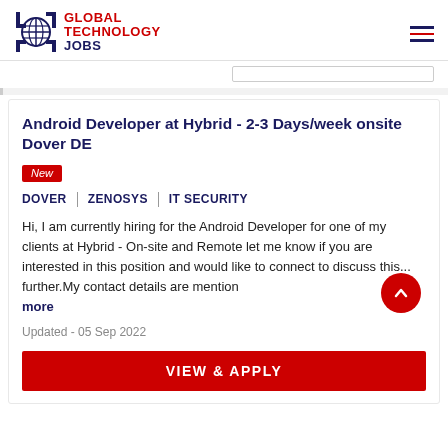[Figure (logo): Global Technology Jobs logo with globe icon and text]
Android Developer at Hybrid - 2-3 Days/week onsite Dover DE
New
DOVER | ZENOSYS | IT SECURITY
Hi, I am currently hiring for the Android Developer for one of my clients at Hybrid - On-site and Remote let me know if you are interested in this position and would like to connect to discuss this... further.My contact details are mention... more
Updated - 05 Sep 2022
VIEW & APPLY